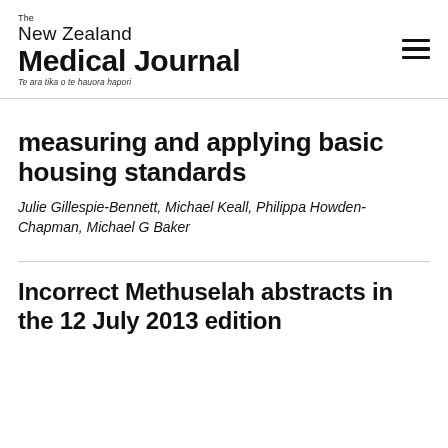The New Zealand Medical Journal — Te ara tika o te hauora hapori
measuring and applying basic housing standards
Julie Gillespie-Bennett, Michael Keall, Philippa Howden-Chapman, Michael G Baker
Incorrect Methuselah abstracts in the 12 July 2013 edition